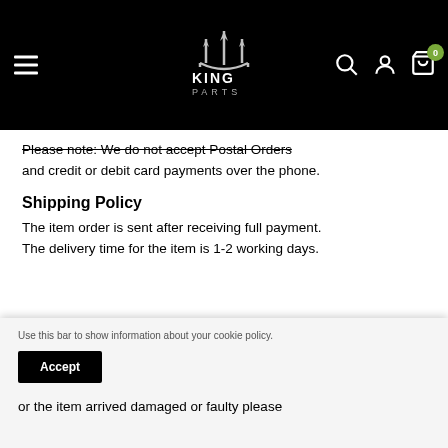[Figure (logo): King Parts logo — stylized trident crown above the text KING PARTS in white/silver on black background, with navigation icons (hamburger menu, search, account, cart with 0 badge)]
Please note: We do not accept Postal Orders and credit or debit card payments over the phone.
Shipping Policy
The item order is sent after receiving full payment.
The delivery time for the item is 1-2 working days.
Use this bar to show information about your cookie policy.
or the item arrived damaged or faulty please